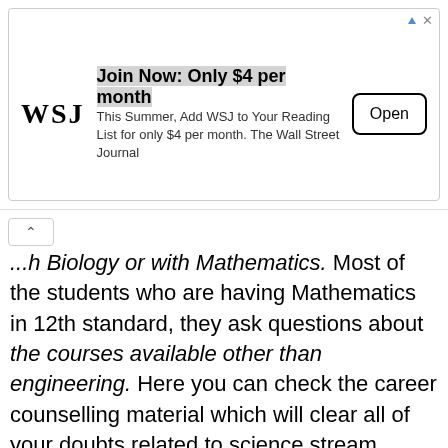[Figure (screenshot): WSJ advertisement banner: 'Join Now: Only $4 per month' with Open button]
...h Biology or with Mathematics. Most of the students who are having Mathematics in 12th standard, they ask questions about the courses available other than engineering. Here you can check the career counselling material which will clear all of your doubts related to science stream.
Admission to IITs – the premier tech schools of India are also facilitated by JEE Mains as the first level screening. The top 2.25 lakh engineering aspirants from JEE Main are selected to appear for JEE Advanced exam